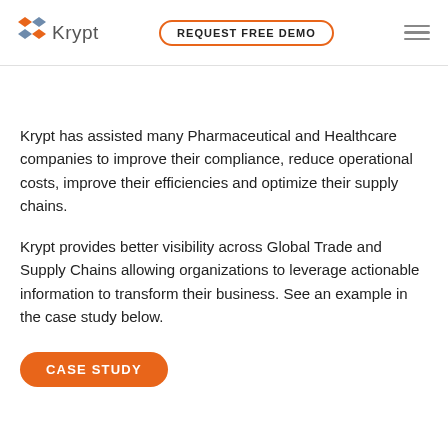Krypt | REQUEST FREE DEMO
Krypt has assisted many Pharmaceutical and Healthcare companies to improve their compliance, reduce operational costs, improve their efficiencies and optimize their supply chains.
Krypt provides better visibility across Global Trade and Supply Chains allowing organizations to leverage actionable information to transform their business. See an example in the case study below.
CASE STUDY